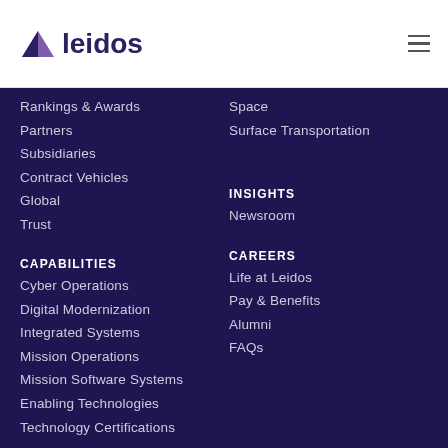[Figure (logo): Leidos logo with purple arrow/triangle icon and bold dark blue 'leidos' text]
Rankings & Awards
Partners
Subsidiaries
Contract Vehicles
Global
Trust
Space
Surface Transportation
CAPABILITIES
Cyber Operations
Digital Modernization
Integrated Systems
Mission Operations
Mission Software Systems
Enabling Technologies
Technology Certifications
INSIGHTS
Newsroom
CAREERS
Life at Leidos
Pay & Benefits
Alumni
FAQs